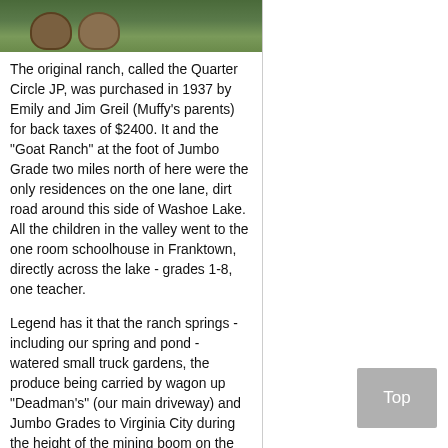[Figure (photo): Outdoor photo showing barrels or planters with greenery/plants near a ranch setting]
The original ranch, called the Quarter Circle JP, was purchased in 1937 by Emily and Jim Greil (Muffy's parents) for back taxes of $2400. It and the "Goat Ranch" at the foot of Jumbo Grade two miles north of here were the only residences on the one lane, dirt road around this side of Washoe Lake. All the children in the valley went to the one room schoolhouse in Franktown, directly across the lake - grades 1-8, one teacher.
Legend has it that the ranch springs - including our spring and pond - watered small truck gardens, the produce being carried by wagon up "Deadman's" (our main driveway) and Jumbo Grades to Virginia City during the height of the mining boom on the Comstock in the late 1800s.
Sometime after the end of World War I, prohibition became the law of the land, and the "Moonshiners" gravitated to isolated lands with plenty of water to set up their stills. The spring tunnels here on the ranch were used for that purpose, and at some point before the repeal of prohibition in 1933, government agents blew up the stills, destroying the tunnel at